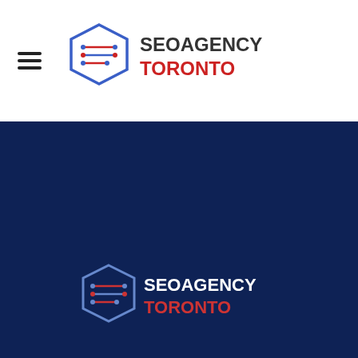[Figure (logo): SEOAgency Toronto logo in header — hexagon shield icon with circuit traces on left, red and blue text 'SEOAGENCY TORONTO' on right]
[Figure (logo): SEOAgency Toronto logo in dark blue footer section — same hexagon shield icon with circuit traces, red and blue/white text 'SEOAGENCY TORONTO']
At SEOAgency-Toronto.com, we've built a team of Digital Marketing Agency that will always provide custom marketing solutions for your business.
Company
HomeAbout UsServicesContact Us